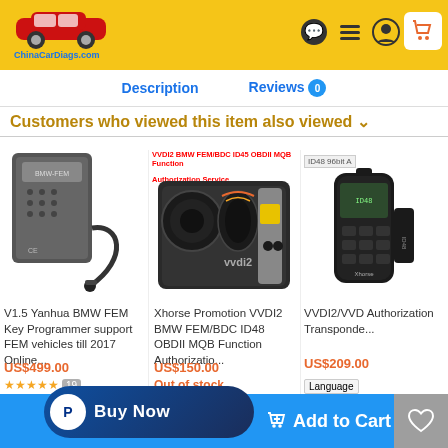ChinaCarDiags.com header with navigation icons
Description | Reviews 0
Customers who viewed this item also viewed
[Figure (photo): V1.5 Yanhua BMW FEM Key Programmer device with cable]
V1.5 Yanhua BMW FEM Key Programmer support FEM vehicles till 2017 Online...
US$499.00
19 reviews, Out of stock
[Figure (photo): Xhorse VVDI2 BMW FEM/BDC ID48 OBDII MQB device]
Xhorse Promotion VVDI2 BMW FEM/BDC ID48 OBDII MQB Function Authorizatio...
US$150.00
Out of stock
[Figure (photo): VVDI2/VVDI Transponder device partial view]
VVDI2/VVD Authorization Transponde...
US$209.00
Language | Add to
PayPal Buy Now | Add to Cart | Wishlist